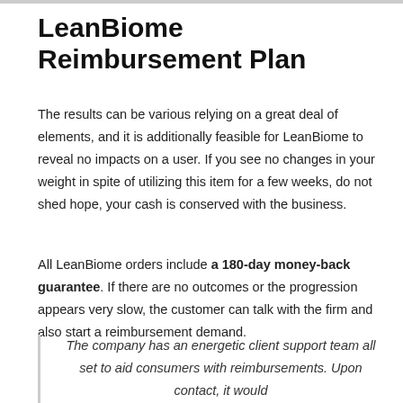LeanBiome Reimbursement Plan
The results can be various relying on a great deal of elements, and it is additionally feasible for LeanBiome to reveal no impacts on a user. If you see no changes in your weight in spite of utilizing this item for a few weeks, do not shed hope, your cash is conserved with the business.
All LeanBiome orders include a 180-day money-back guarantee. If there are no outcomes or the progression appears very slow, the customer can talk with the firm and also start a reimbursement demand.
The company has an energetic client support team all set to aid consumers with reimbursements. Upon contact, it would